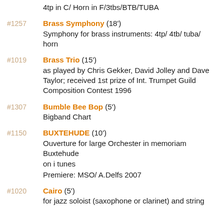4tp in C/ Horn in F/3tbs/BTB/TUBA
#1257 Brass Symphony (18') Symphony for brass instruments: 4tp/ 4tb/ tuba/ horn
#1019 Brass Trio (15') as played by Chris Gekker, David Jolley and Dave Taylor; received 1st prize of Int. Trumpet Guild Composition Contest 1996
#1307 Bumble Bee Bop (5') Bigband Chart
#1150 BUXTEHUDE (10') Ouverture for large Orchester in memoriam Buxtehude on i tunes Premiere: MSO/ A.Delfs 2007
#1020 Cairo (5') for jazz soloist (saxophone or clarinet) and string